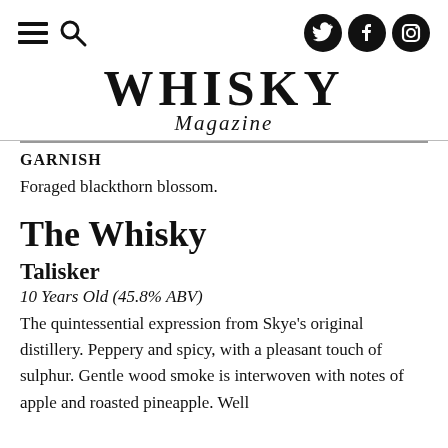Whisky Magazine – navigation header with hamburger menu, search, and social icons (Twitter, Facebook, Instagram)
WHISKY Magazine
GARNISH
Foraged blackthorn blossom.
The Whisky
Talisker
10 Years Old (45.8% ABV)
The quintessential expression from Skye's original distillery. Peppery and spicy, with a pleasant touch of sulphur. Gentle wood smoke is interwoven with notes of apple and roasted pineapple. Well